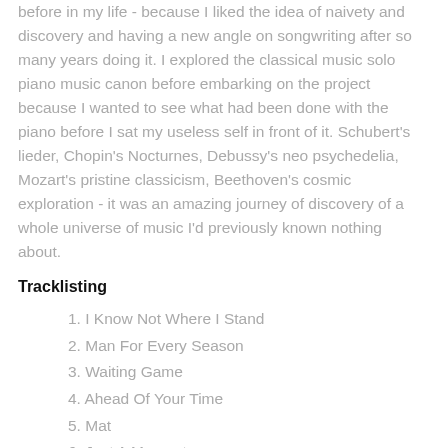before in my life - because I liked the idea of naivety and discovery and having a new angle on songwriting after so many years doing it. I explored the classical music solo piano music canon before embarking on the project because I wanted to see what had been done with the piano before I sat my useless self in front of it. Schubert's lieder, Chopin's Nocturnes, Debussy's neo psychedelia, Mozart's pristine classicism, Beethoven's cosmic exploration - it was an amazing journey of discovery of a whole universe of music I'd previously known nothing about.
Tracklisting
1. I Know Not Where I Stand
2. Man For Every Season
3. Waiting Game
4. Ahead Of Your Time
5. Mat
6. Just A Moment